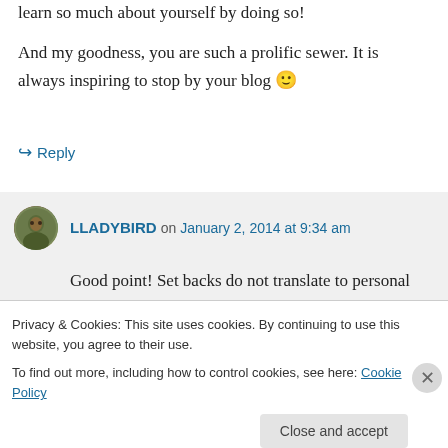learn so much about yourself by doing so!
And my goodness, you are such a prolific sewer. It is always inspiring to stop by your blog 🙂
↪ Reply
LLADYBIRD on January 2, 2014 at 9:34 am
Good point! Set backs do not translate to personal failure, it just means things went a different route! It's so easy to forget that
Privacy & Cookies: This site uses cookies. By continuing to use this website, you agree to their use. To find out more, including how to control cookies, see here: Cookie Policy